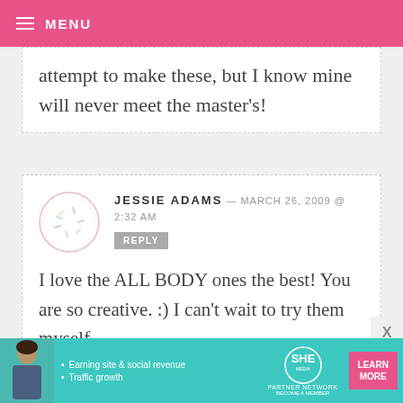MENU
attempt to make these, but I know mine will never meet the master's!
JESSIE ADAMS — MARCH 26, 2009 @ 2:32 AM
REPLY
I love the ALL BODY ones the best! You are so creative. :) I can't wait to try them myself.
TRICIA — MARCH 26, 2009 @ 2:71 AM REPLY
[Figure (infographic): SHE Partner Network advertisement banner with woman, bullets about earning site & social revenue and traffic growth, logo, and Learn More button]